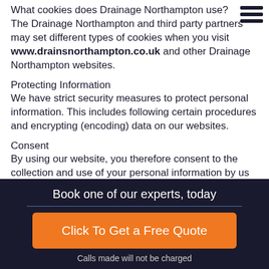What cookies does Drainage Northampton use? The Drainage Northampton and third party partners may set different types of cookies when you visit www.drainsnorthampton.co.uk and other Drainage Northampton websites.
Protecting Information
We have strict security measures to protect personal information. This includes following certain procedures and encrypting (encoding) data on our websites.
Consent
By using our website, you therefore consent to the collection and use of your personal information by us as detailed in this Privacy Policy
Book one of our experts, today
Click To Get a Free Quote
Calls made will not be charged